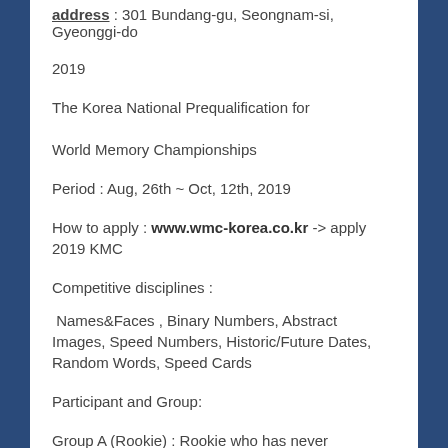address : 301 Bundang-gu, Seongnam-si, Gyeonggi-do
2019
The Korea National Prequalification for World Memory Championships
Period : Aug, 26th ~ Oct, 12th, 2019
How to apply : www.wmc-korea.co.kr -> apply 2019 KMC
Competitive disciplines :
Names&Faces , Binary Numbers, Abstract Images, Speed Numbers, Historic/Future Dates, Random Words, Speed Cards
Participant and Group:
Group A (Rookie) : Rookie who has never